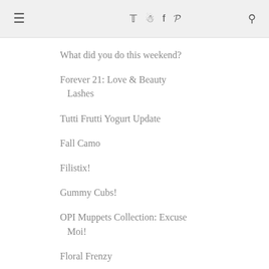≡  ✦ ⊡ f ℗  🔍
What did you do this weekend?
Forever 21: Love & Beauty Lashes
Tutti Frutti Yogurt Update
Fall Camo
Filistix!
Gummy Cubs!
OPI Muppets Collection: Excuse Moi!
Floral Frenzy
New Toy